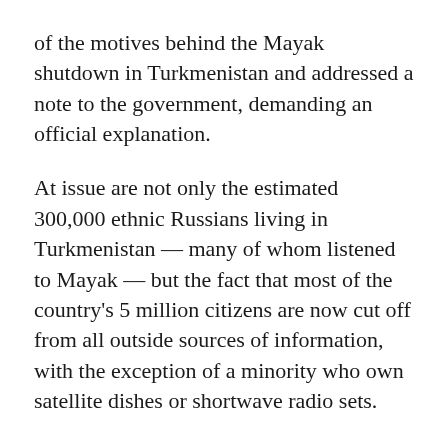of the motives behind the Mayak shutdown in Turkmenistan and addressed a note to the government, demanding an official explanation.
At issue are not only the estimated 300,000 ethnic Russians living in Turkmenistan -- many of whom listened to Mayak -- but the fact that most of the country's 5 million citizens are now cut off from all outside sources of information, with the exception of a minority who own satellite dishes or shortwave radio sets.
In 1998, the Turkmen authorities pulled the plug on Russian television broadcasts provided by ORT television, and in 2002, all foreign newspaper and magazine subscriptions were halted. Mayak provided Turkmen with their last source of easily accessible outside news.